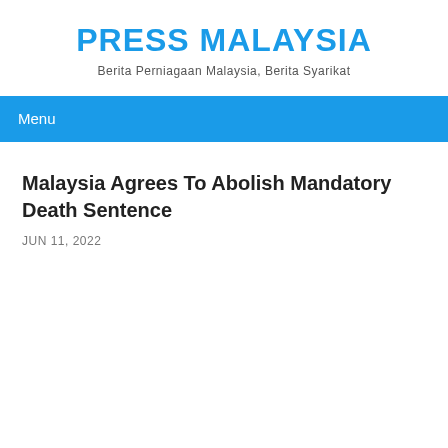PRESS MALAYSIA
Berita Perniagaan Malaysia, Berita Syarikat
Menu
Malaysia Agrees To Abolish Mandatory Death Sentence
JUN 11, 2022